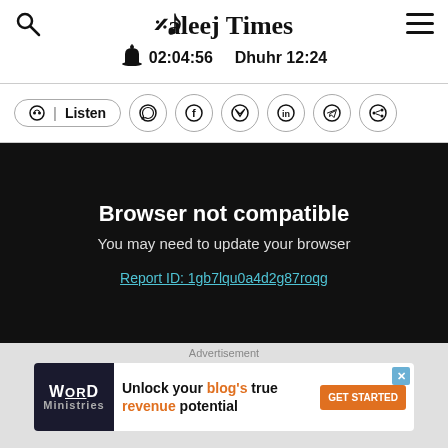Khaleej Times — 02:04:56  Dhuhr 12:24
[Figure (screenshot): Social sharing toolbar with Listen button, WhatsApp, Facebook, Twitter, LinkedIn, Telegram, and Share icons]
[Figure (screenshot): Black media player area showing 'Browser not compatible — You may need to update your browser' with report link: Report ID: 1gb7lqu0a4d2g87roqg]
[Figure (screenshot): Advertisement banner: Word Ministries — Unlock your blog's true revenue potential, GET STARTED button]